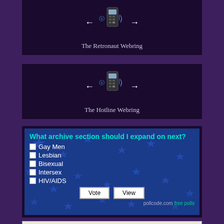[Figure (illustration): The Retronaut Webring banner with a retro mobile phone flanked by left and right arrows, on dark background]
The Retronaut Webring
[Figure (illustration): The Hotline Webring banner with a retro mobile phone flanked by left and right arrows, on dark background]
The Hotline Webring
[Figure (infographic): Poll widget asking 'What archive section should I expand on next?' with options: Gay Men, Lesbian, Bisexual, Intersex, HIV/AIDS, and Vote/View buttons]
Questions, suggestions, or concerns? Only I see these messages.